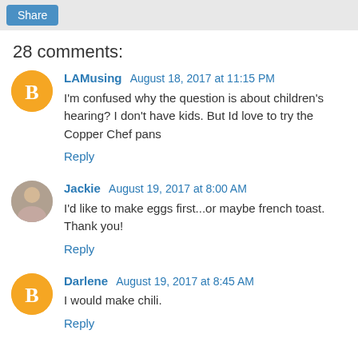Share
28 comments:
LAMusing August 18, 2017 at 11:15 PM
I'm confused why the question is about children's hearing? I don't have kids. But Id love to try the Copper Chef pans
Reply
Jackie August 19, 2017 at 8:00 AM
I'd like to make eggs first...or maybe french toast. Thank you!
Reply
Darlene August 19, 2017 at 8:45 AM
I would make chili.
Reply